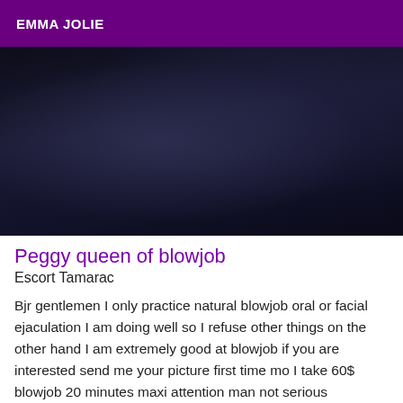EMMA JOLIE
[Figure (photo): Dark blurred background image with deep blue and purple tones]
Peggy queen of blowjob
Escort Tamarac
Bjr gentlemen I only practice natural blowjob oral or facial ejaculation I am doing well so I refuse other things on the other hand I am extremely good at blowjob if you are interested send me your picture first time mo I take 60$ blowjob 20 minutes maxi attention man not serious